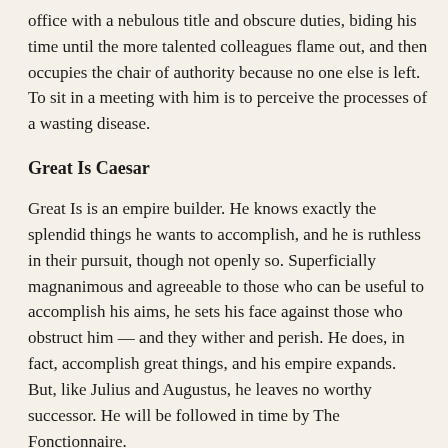office with a nebulous title and obscure duties, biding his time until the more talented colleagues flame out, and then occupies the chair of authority because no one else is left. To sit in a meeting with him is to perceive the processes of a wasting disease.
Great Is Caesar
Great Is is an empire builder. He knows exactly the splendid things he wants to accomplish, and he is ruthless in their pursuit, though not openly so. Superficially magnanimous and agreeable to those who can be useful to accomplish his aims, he sets his face against those who obstruct him — and they wither and perish. He does, in fact, accomplish great things, and his empire expands. But, like Julius and Augustus, he leaves no worthy successor. He will be followed in time by The Fonctionnaire.
Pharaoh
Pharaoh, like Great Is Caesar, has grand designs. Unlike Great Is, he is clueless about how to accomplish them. So instead he is dictatorial. He hardens his heart. His voice is the only voice that booms out in meetings, and lesser folk are misguided if they